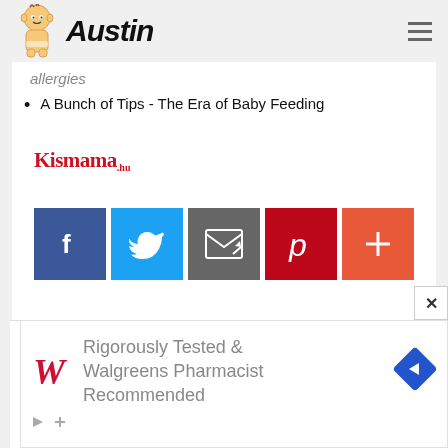Austin
allergies
A Bunch of Tips - The Era of Baby Feeding
[Figure (logo): Kismama logo in red serif font]
[Figure (infographic): Social sharing buttons: Facebook (blue), Twitter (light blue), Email (gray), Pinterest (red), More (orange-red)]
[Figure (infographic): Advertisement banner: Rigorously Tested & Walgreens Pharmacist Recommended, with Walgreens W logo and navigation arrow icon]